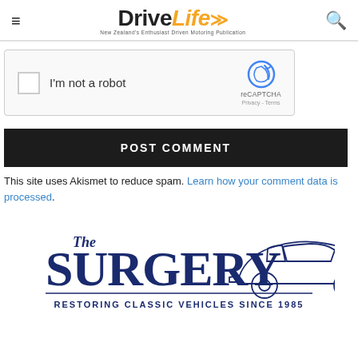DriveLife — New Zealand's Enthusiast Driven Motoring Publication
[Figure (screenshot): reCAPTCHA widget with checkbox labeled 'I'm not a robot']
POST COMMENT
This site uses Akismet to reduce spam. Learn how your comment data is processed.
[Figure (logo): The Surgery — Restoring Classic Vehicles Since 1985 logo with classic car illustration]